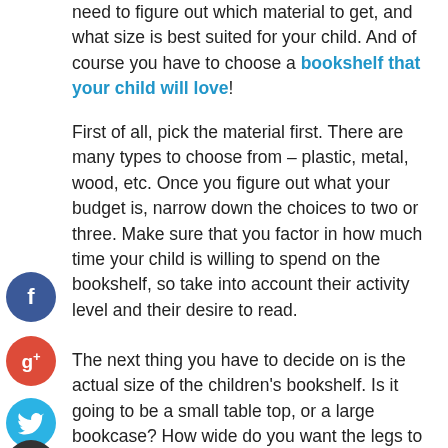need to figure out which material to get, and what size is best suited for your child. And of course you have to choose a bookshelf that your child will love!
First of all, pick the material first. There are many types to choose from – plastic, metal, wood, etc. Once you figure out what your budget is, narrow down the choices to two or three. Make sure that you factor in how much time your child is willing to spend on the bookshelf, so take into account their activity level and their desire to read.
The next thing you have to decide on is the actual size of the children's bookshelf. Is it going to be a small table top, or a large bookcase? How wide do you want the legs to be? If you plan on putting librarians or a school library computer on it, then you